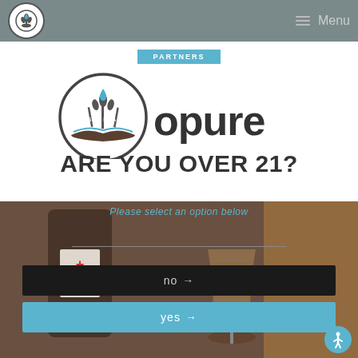Menu
[Figure (logo): circular wheat/grain logo with water drop, opure brand logo with PARTNERS and SUSTAINABILITY overlays]
ARE YOU OVER 21?
Please select an option below
[Figure (photo): Background photo of wine being poured into a glass]
no →
yes →